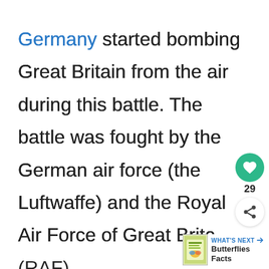Germany started bombing Great Britain from the air during this battle. The battle was fought by the German air force (the Luftwaffe) and the Royal Air Force of Great Britain (RAF).
[Figure (other): Green circular heart/like button with count 29 below it, and a share button below that]
[Figure (other): WHAT'S NEXT arrow label with Butterflies Facts book cover thumbnail]